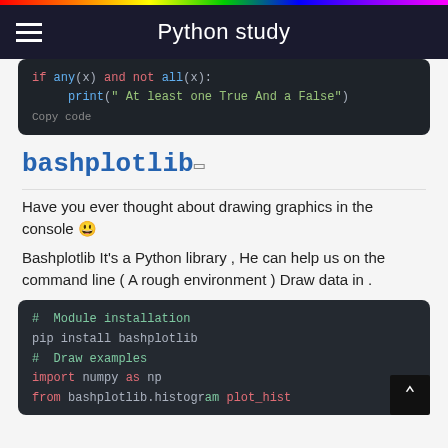Python study
[Figure (screenshot): Dark code block showing Python code: if any(x) and not all(x): print(' At least one True And a False'). Copy code link below.]
bashplotlib
Have you ever thought about drawing graphics in the console 🤔
Bashplotlib It's a Python library , He can help us on the command line ( A rough environment ) Draw data in .
[Figure (screenshot): Dark code block showing Python code: # Module installation, pip install bashplotlib, # Draw examples, import numpy as np, from bashplotlib.histogram import plot_hist (partially visible)]